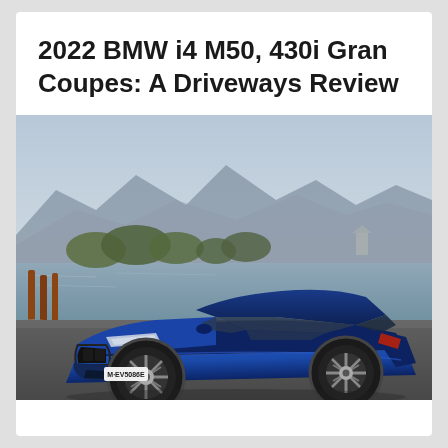2022 BMW i4 M50, 430i Gran Coupes: A Driveways Review
[Figure (photo): A blue BMW i4 M50 electric sedan parked near a waterfront with mountains in the background. License plate reads M-EV5086E. The car is viewed from a front-three-quarter angle against a scenic lake and mountain backdrop.]